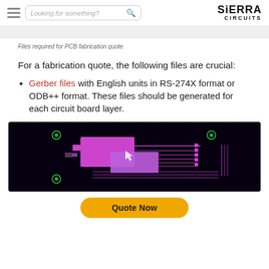Sierra Circuits — Looking for something? [search bar]
Files required for PCB fabrication quote
For a fabrication quote, the following files are crucial:
Gerber files with English units in RS-274X format or ODB++ format. These files should be generated for each circuit board layer.
[Figure (screenshot): Screenshot of PCB CAD software showing a circuit board layout with purple/magenta component pads and traces on a dark background with green drill holes visible in corners.]
Quote Now